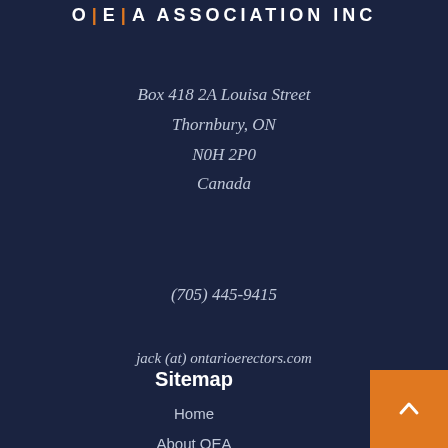OEA Association Inc
Box 418 2A Louisa Street
Thornbury, ON
N0H 2P0
Canada
(705) 445-9415
jack (at) ontarioerectors.com
Sitemap
Home
About OEA